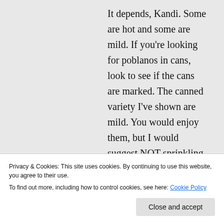It depends, Kandi. Some are hot and some are mild. If you're looking for poblanos in cans, look to see if the cans are marked. The canned variety I've shown are mild. You would enjoy them, but I would suggest NOT sprinkling the cayenne pepper on top if you're sensitive to hot peppers. I LOVE the flavor of poblanos. They're the same peppers usually used in chili rellenos, if you've ever had those. Mmmmm.... so good
Privacy & Cookies: This site uses cookies. By continuing to use this website, you agree to their use.
To find out more, including how to control cookies, see here: Cookie Policy